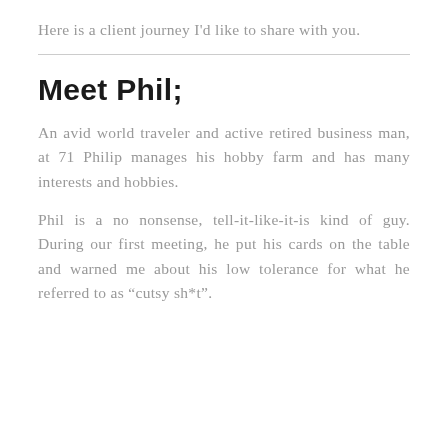Here is a client journey I'd like to share with you.
Meet Phil;
An avid world traveler and active retired business man, at 71 Philip manages his hobby farm and has many interests and hobbies.
Phil is a no nonsense, tell-it-like-it-is kind of guy. During our first meeting, he put his cards on the table and warned me about his low tolerance for what he referred to as “cutsy sh*t”.